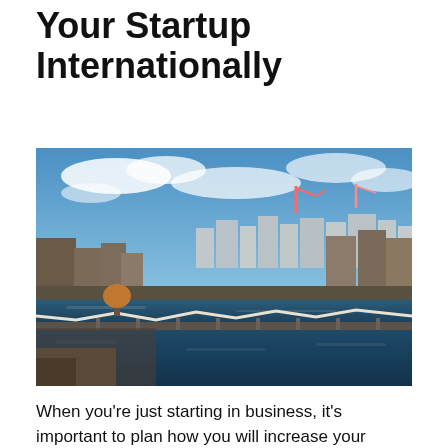Your Startup Internationally
[Figure (photo): Aerial view of a waterfront city district with a river, bridges, industrial cranes, and buildings under a partly cloudy blue sky.]
When you’re just starting in business, it’s important to plan how you will increase your